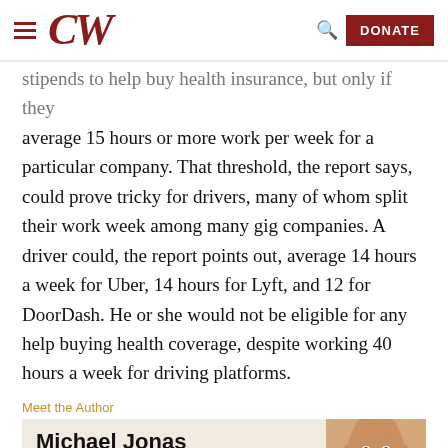CW — CommonWealth
stipends to help buy health insurance, but only if they average 15 hours or more work per week for a particular company. That threshold, the report says, could prove tricky for drivers, many of whom split their work week among many gig companies. A driver could, the report points out, average 14 hours a week for Uber, 14 hours for Lyft, and 12 for DoorDash. He or she would not be eligible for any help buying health coverage, despite working 40 hours a week for driving platforms.
Meet the Author
Michael Jonas
Executive Editor, CommonWealth